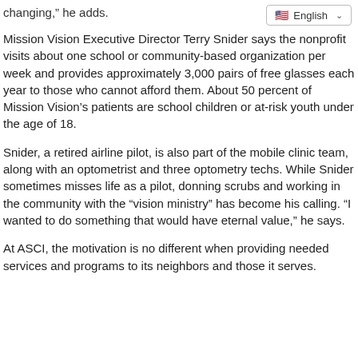changing,” he adds.
Mission Vision Executive Director Terry Snider says the nonprofit visits about one school or community-based organization per week and provides approximately 3,000 pairs of free glasses each year to those who cannot afford them. About 50 percent of Mission Vision’s patients are school children or at-risk youth under the age of 18.
Snider, a retired airline pilot, is also part of the mobile clinic team, along with an optometrist and three optometry techs. While Snider sometimes misses life as a pilot, donning scrubs and working in the community with the “vision ministry” has become his calling. “I wanted to do something that would have eternal value,” he says.
At ASCI, the motivation is no different when providing needed services and programs to its neighbors and those it serves.